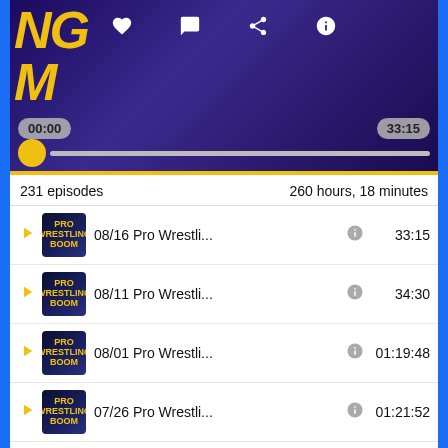[Figure (screenshot): Podcast player interface showing wrestling podcast with play controls, timestamp 00:00 and 33:15, and progress bar]
231 episodes    260 hours, 18 minutes
08/16 Pro Wrestli...  33:15
08/11 Pro Wrestli...  34:30
08/01 Pro Wrestli...  01:19:48
07/26 Pro Wrestli...  01:21:52
By John Moore, ProWrestling.net Staffer (@liljohnm)